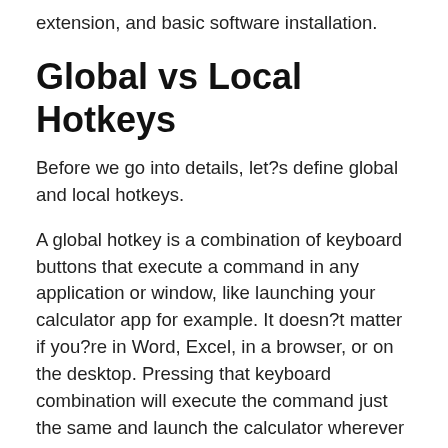extension, and basic software installation.
Global vs Local Hotkeys
Before we go into details, let?s define global and local hotkeys.
A global hotkey is a combination of keyboard buttons that execute a command in any application or window, like launching your calculator app for example. It doesn?t matter if you?re in Word, Excel, in a browser, or on the desktop. Pressing that keyboard combination will execute the command just the same and launch the calculator wherever you are.
A good example of global hotkeys are the custom play, pause, stop, and mute media